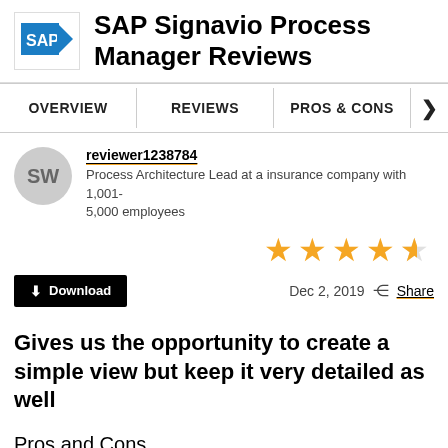SAP Signavio Process Manager Reviews
OVERVIEW | REVIEWS | PROS & CONS
reviewer1238784
Process Architecture Lead at a insurance company with 1,001-5,000 employees
[Figure (other): 4.5 out of 5 stars rating]
Dec 2, 2019  Share
Download
Gives us the opportunity to create a simple view but keep it very detailed as well
Pros and Cons